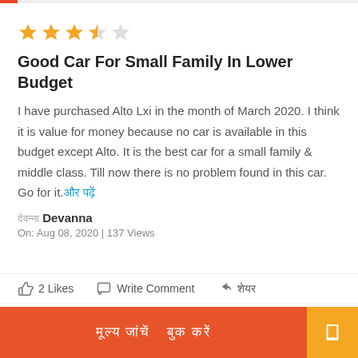★★★★☆ Good Car For Small Family In Lower Budget — review page header bar
[Figure (other): 3.5 out of 5 stars rating (3 filled orange stars, 1 half-filled, 1 empty)]
Good Car For Small Family In Lower Budget
I have purchased Alto Lxi in the month of March 2020. I think it is value for money because no car is available in this budget except Alto. It is the best car for a small family & middle class. Till now there is no problem found in this car. Go for it.और पढ़ें
देवन्ना Devanna
On: Aug 08, 2020 | 137 Views
👍 2 Likes   💬 Write Comment   ➤ शेयर
मूल्य जांचें बुक करें (button text in Hindi)